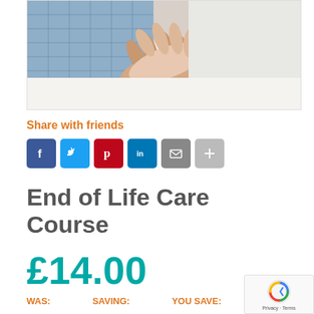[Figure (photo): Close-up photo of a caregiver's hands holding an elderly patient's hands, both resting on white bedding. The patient wears a blue checked shirt.]
Share with friends
[Figure (infographic): Row of social media sharing buttons: Facebook (blue), Twitter (light blue), Pinterest (red), LinkedIn (blue), Email (grey), More (light grey)]
End of Life Care Course
£14.00
WAS:   SAVING:   YOU SAVE: